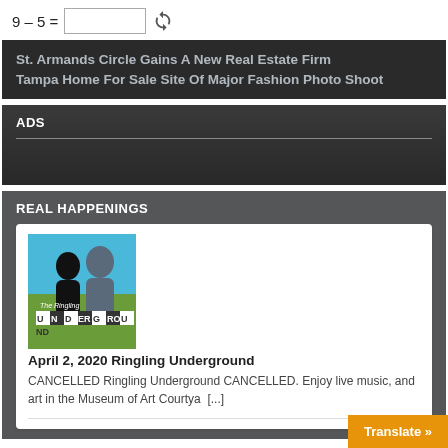9 – 5 = [input]
St. Armands Circle Gains A New Real Estate Firm
Tampa Home For Sale Site Of Major Fashion Photo Shoot
ADS
REAL HAPPENINGS
[Figure (logo): The Ringling Underground logo — silhouette of two figures against blue and green background with text 'The Ringling UNDERGROUND']
April 2, 2020 Ringling Underground
CANCELLED Ringling Underground CANCELLED. Enjoy live music, and art in the Museum of Art Courtya [...]
Translate »